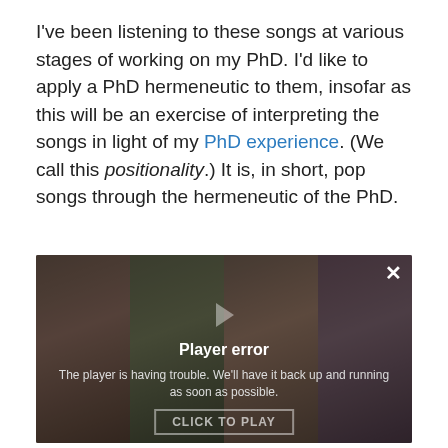I've been listening to these songs at various stages of working on my PhD. I'd like to apply a PhD hermeneutic to them, insofar as this will be an exercise of interpreting the songs in light of my PhD experience. (We call this positionality.) It is, in short, pop songs through the hermeneutic of the PhD.
[Figure (screenshot): Embedded video player showing four people's faces in a panel strip, overlaid with a 'Player error' message: 'The player is having trouble. We'll have it back up and running as soon as possible.' A close (X) button in the top right and a 'CLICK TO PLAY' button at the bottom.]